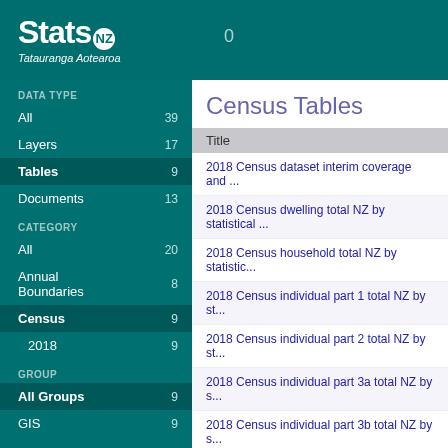[Figure (logo): Stats NZ Tatauranga Aotearoa logo on teal header background]
DATA TYPE
All 39
Layers 17
Tables 9
Documents 13
CATEGORY
All 20
Annual Boundaries 8
Census 9
2018 9
GROUP
All Groups 9
GIS 9
REGION
All Regions 9
World 9
Census Tables
| Title |
| --- |
| 2018 Census dataset interim coverage and ... |
| 2018 Census dwelling total NZ by statistical ... |
| 2018 Census household total NZ by statistic... |
| 2018 Census individual part 1 total NZ by st... |
| 2018 Census individual part 2 total NZ by st... |
| 2018 Census individual part 3a total NZ by s... |
| 2018 Census individual part 3b total NZ by s... |
| 2018 Census Main means of travel to work b... |
| 2018 Census Main means of travel to educa... |